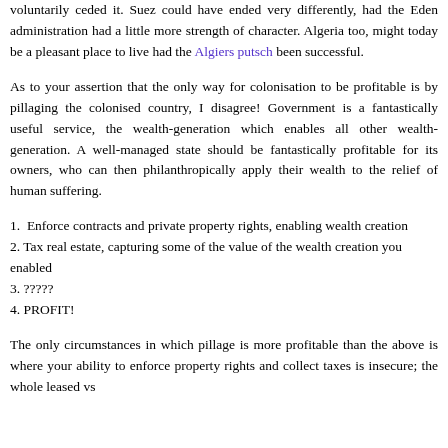voluntarily ceded it. Suez could have ended very differently, had the Eden administration had a little more strength of character. Algeria too, might today be a pleasant place to live had the Algiers putsch been successful.
As to your assertion that the only way for colonisation to be profitable is by pillaging the colonised country, I disagree! Government is a fantastically useful service, the wealth-generation which enables all other wealth-generation. A well-managed state should be fantastically profitable for its owners, who can then philanthropically apply their wealth to the relief of human suffering.
1.  Enforce contracts and private property rights, enabling wealth creation
2. Tax real estate, capturing some of the value of the wealth creation you enabled
3. ?????
4. PROFIT!
The only circumstances in which pillage is more profitable than the above is where your ability to enforce property rights and collect taxes is insecure; the whole leased vs